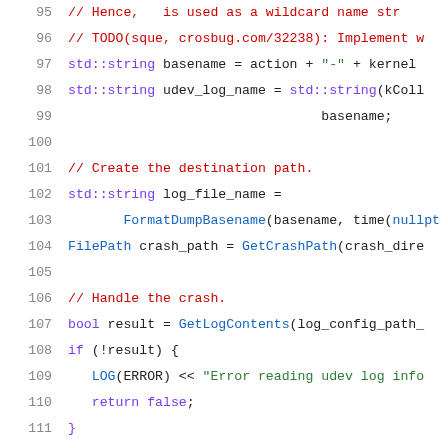95: // Hence, * is used as a wildcard name str...
96: // TODO(sque, crosbug.com/32238): Implement w...
97: std::string basename = action + "-" + kernel ...
98: std::string udev_log_name = std::string(kColl...
99:     basename;
100:
101: // Create the destination path.
102: std::string log_file_name =
103:     FormatDumpBasename(basename, time(nullpt...
104: FilePath crash_path = GetCrashPath(crash_dire...
105:
106: // Handle the crash.
107: bool result = GetLogContents(log_config_path_...
108: if (!result) {
109:   LOG(ERROR) << "Error reading udev log info...
110:   return false;
111: }
112:
113: // Compress the output using gzip.
114: brillo::ProcessImpl gzip_process;
115: gzip_process.AddArg(kGzipPath);
116: gzip_process.AddArg(crash_path.value());